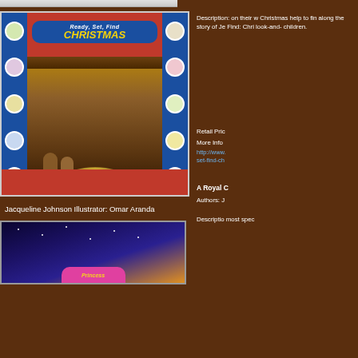[Figure (illustration): Top partial strip showing bottom edge of a previous book cover image]
[Figure (illustration): Book cover for 'Ready, Set, Find Christmas' illustrated children's book with Nativity scene and search-and-find elements on red background with decorative character circles]
Description: on their w Christmas help to fin along the story of Je Find: Chri look-and- children.
Retail Pric
More Info
http://www. set-find-ch
A Royal C
Authors: J
Jacqueline Johnson Illustrator: Omar Aranda
[Figure (illustration): Bottom partial view of a second children's book cover with starry night sky and pink title area]
Descriptio most spec